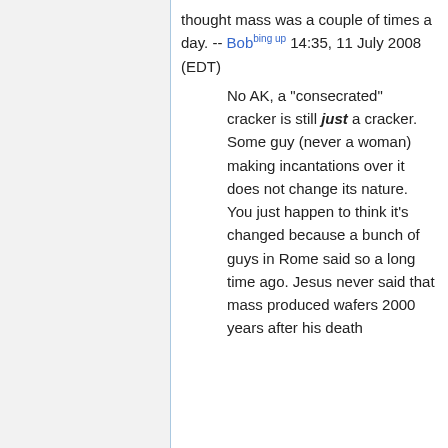thought mass was a couple of times a day. -- Bob^(bing up) 14:35, 11 July 2008 (EDT)
No AK, a "consecrated" cracker is still just a cracker. Some guy (never a woman) making incantations over it does not change its nature. You just happen to think it's changed because a bunch of guys in Rome said so a long time ago. Jesus never said that mass produced wafers 2000 years after his death